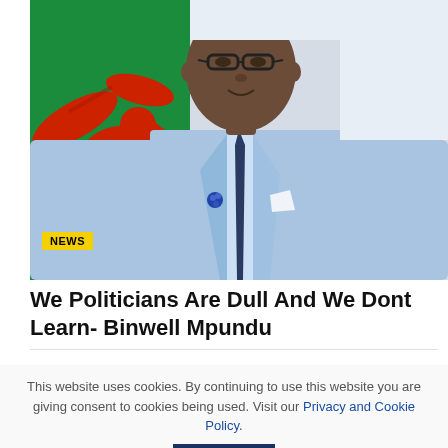[Figure (photo): A man in a light blue suit with a navy tie stands in front of a green flag bearing a red eagle — the Zambian flag. He wears glasses and a blue lapel pin.]
We Politicians Are Dull And We Dont Learn- Binwell Mpundu
This website uses cookies. By continuing to use this website you are giving consent to cookies being used. Visit our Privacy and Cookie Policy.